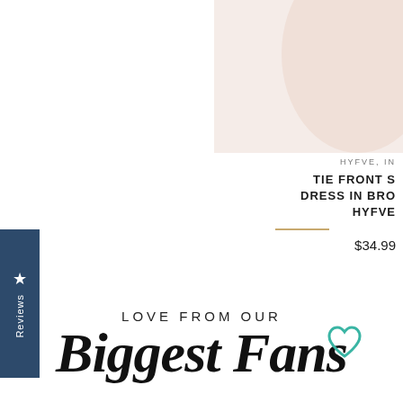[Figure (photo): Partial view of a pink/blush dress on white/pink background, cropped at top-right of page]
HYFVE, IN
TIE FRONT S
DRESS IN BRO
HYFVE
$34.99
Reviews
LOVE FROM OUR
Biggest Fans